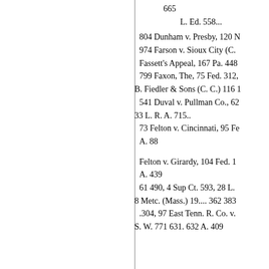665
L. Ed. 558...
804 Dunham v. Presby, 120 N
974 Farson v. Sioux City (C.
Fassett's Appeal, 167 Pa. 448
799 Faxon, The, 75 Fed. 312,
B. Fiedler & Sons (C. C.) 116 1
541 Duval v. Pullman Co., 62
33 L. R. A. 715..
73 Felton v. Cincinnati, 95 Fe
A. 88
Felton v. Girardy, 104 Fed. 1
A. 439
61 490, 4 Sup Ct. 593, 28 L.
8 Metc. (Mass.) 19.... 362 383
.304, 97 East Tenn. R. Co. v.
S. W. 771 631. 632 A. 409